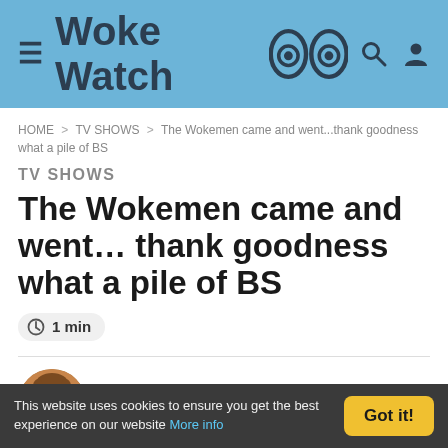Woke Watch
HOME > TV SHOWS > The Wokemen came and went...thank goodness what a pile of BS
TV SHOWS
The Wokemen came and went... thank goodness what a pile of BS
1 min
by Craig 2 years ago
22.5k views
This website uses cookies to ensure you get the best experience on our website More info